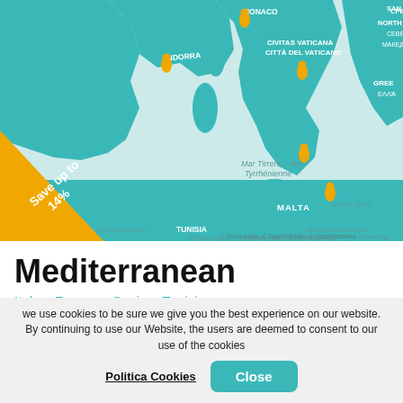[Figure (map): Map of the Mediterranean region showing Italy, France, Spain, Tunisia, Monaco, San Marino, Malta, Vatican City, North Macedonia, Greece and surrounding seas with teal country fills and orange location pins. A diagonal orange badge reads 'Save up to 14%'. Attribution: © Stadia Maps, © OpenMapTiles, © OpenStreetMap]
Mediterranean
Italy > France > Spain > Tunisia
from $1,197
we use cookies to be sure we give you the best experience on our website. By continuing to use our Website, the users are deemed to consent to our use of the cookies
Politica Cookies   Close